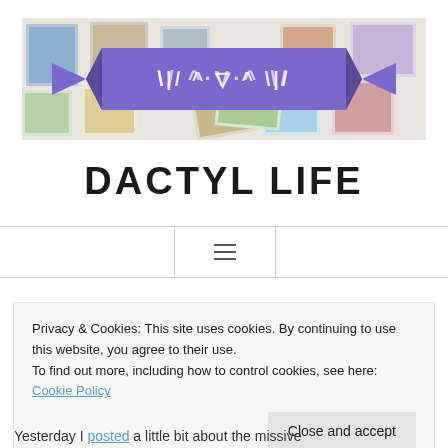[Figure (illustration): Blog header image showing a collage of postage stamps with a purple decorative ribbon/banner overlay containing geometric arrow-like symbols (Dactyl Life logo)]
DACTYL LIFE
[Figure (other): Navigation menu toggle button with hamburger icon (three horizontal lines)]
Privacy & Cookies: This site uses cookies. By continuing to use this website, you agree to their use.
To find out more, including how to control cookies, see here: Cookie Policy
Close and accept
Yesterday I posted a little bit about the missive